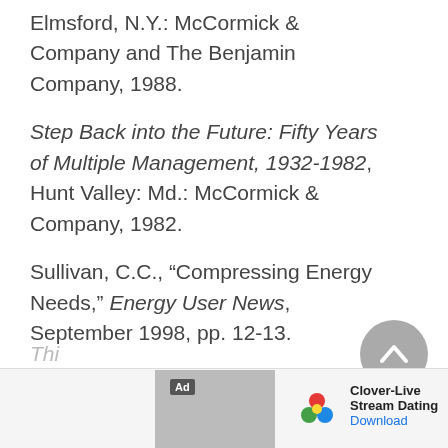Elmsford, N.Y.: McCormick & Company and The Benjamin Company, 1988.
Step Back into the Future: Fifty Years of Multiple Management, 1932-1982, Hunt Valley: Md.: McCormick & Company, 1982.
Sullivan, C.C., “Compressing Energy Needs,” Energy User News, September 1998, pp. 12-13.